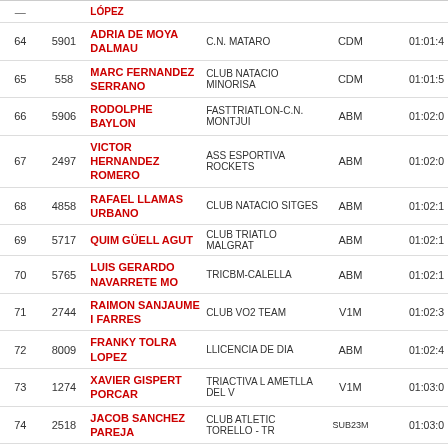| Pos | Bib | Name | Club | Cat | Time |
| --- | --- | --- | --- | --- | --- |
| 64 | 5901 | ADRIA DE MOYA DALMAU | C.N. MATARO | CDM | 01:01:4 |
| 65 | 558 | MARC FERNANDEZ SERRANO | CLUB NATACIO MINORISA | CDM | 01:01:5 |
| 66 | 5906 | RODOLPHE BAYLON | FASTTRIATLON-C.N. MONTJUI | ABM | 01:02:0 |
| 67 | 2497 | VICTOR HERNANDEZ ROMERO | ASS ESPORTIVA ROCKETS | ABM | 01:02:0 |
| 68 | 4858 | RAFAEL LLAMAS URBANO | CLUB NATACIO SITGES | ABM | 01:02:1 |
| 69 | 5717 | QUIM GÜELL AGUT | CLUB TRIATLO MALGRAT | ABM | 01:02:1 |
| 70 | 5765 | LUIS GERARDO NAVARRETE MO | TRICBM-CALELLA | ABM | 01:02:1 |
| 71 | 2744 | RAIMON SANJAUME I FARRES | CLUB VO2 TEAM | V1M | 01:02:3 |
| 72 | 8009 | FRANKY TOLRA LOPEZ | LLICENCIA DE DIA | ABM | 01:02:4 |
| 73 | 1274 | XAVIER GISPERT PORCAR | TRIACTIVA L AMETLLA DEL V | V1M | 01:03:0 |
| 74 | 2518 | JACOB SANCHEZ PAREJA | CLUB ATLETIC TORELLO - TR | SUB23M | 01:03:0 |